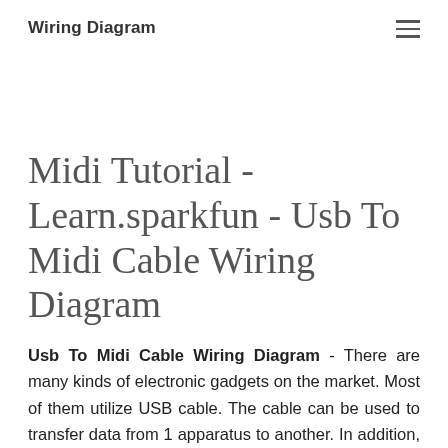Wiring Diagram
Midi Tutorial - Learn.sparkfun - Usb To Midi Cable Wiring Diagram
Usb To Midi Cable Wiring Diagram - There are many kinds of electronic gadgets on the market. Most of them utilize USB cable. The cable can be used to transfer data from 1 apparatus to another. In addition, it can connect device to a power